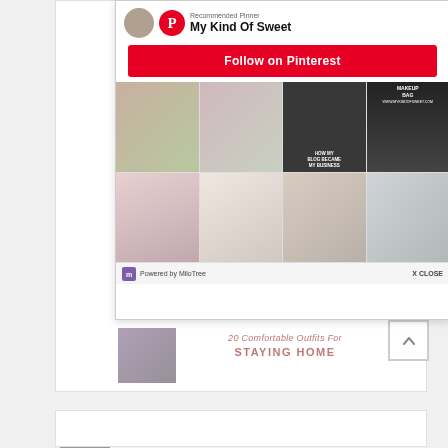[Figure (screenshot): Pinterest MiloTree popup widget showing 'Recommended Pinner: My Kind Of Sweet' with a Follow on Pinterest button, a grid of fashion/lifestyle pin images, and a Powered by MiloTree footer with X CLOSE option. Below the popup is a blog post preview titled '20 Comfortable Outfits For STAYING HOME' with a small thumbnail image. Sidebar shows multiple fashion photo thumbnails.]